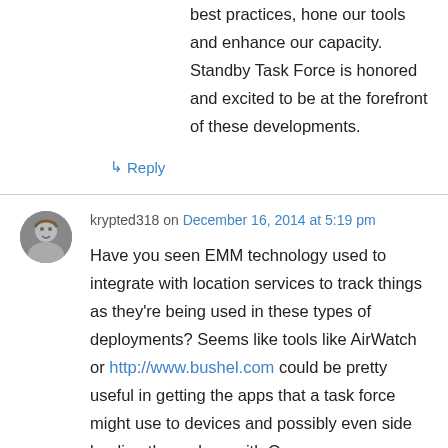best practices, hone our tools and enhance our capacity. Standby Task Force is honored and excited to be at the forefront of these developments.
↳ Reply
krypted318 on December 16, 2014 at 5:19 pm
Have you seen EMM technology used to integrate with location services to track things as they're being used in these types of deployments? Seems like tools like AirWatch or http://www.bushel.com could be pretty useful in getting the apps that a task force might use to devices and possibly even side loading them along with Open...?